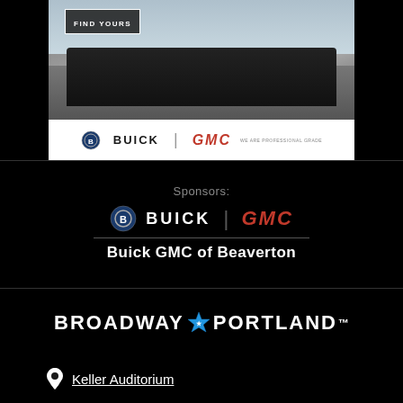[Figure (photo): Buick GMC advertisement banner with truck and 'Find Yours' button, Buick and GMC logos at bottom]
Sponsors:
[Figure (logo): Buick | GMC logos side by side, sponsor logos]
Buick GMC of Beaverton
[Figure (logo): Broadway Portland star logo]
Keller Auditorium